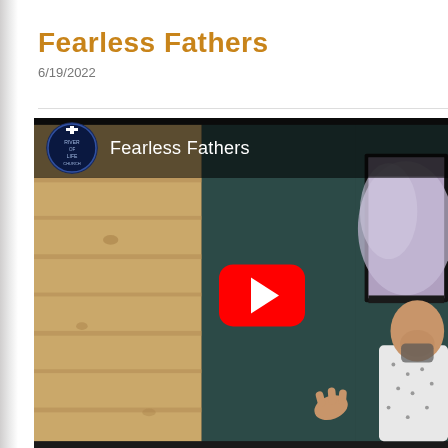Fearless Fathers
6/19/2022
[Figure (screenshot): YouTube video thumbnail showing a bald man speaking at a church pulpit with a wood plank wall on the left, dark teal background in center, and a large screen with a close-up photo on the right. The video is titled 'Fearless Fathers' with the River of Life Church logo visible. A red YouTube play button is displayed in the center-right area.]